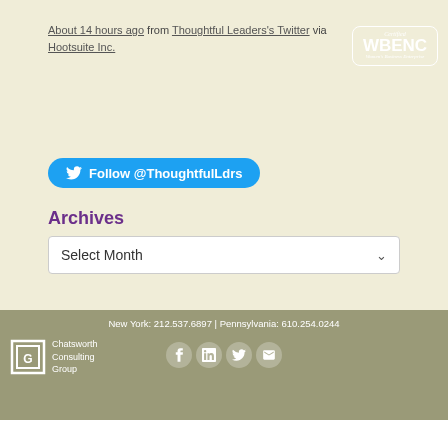About 14 hours ago from Thoughtful Leaders's Twitter via Hootsuite Inc.
[Figure (other): Follow @ThoughtfulLdrs Twitter button]
Archives
Select Month (dropdown)
New York: 212.537.6897 | Pennsylvania: 610.254.0244  Chatsworth Consulting Group  [social icons]  Certified WBENC Women's Business Enterprise